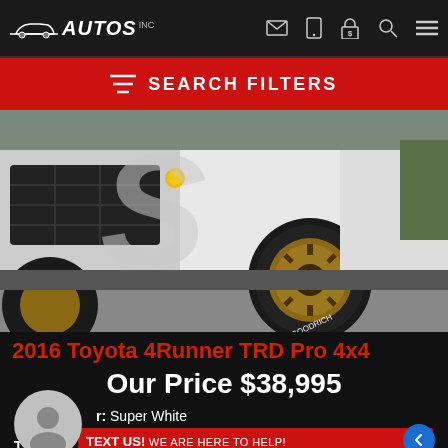AUTOS INC navigation bar with icons
SEARCH FILTERS
[Figure (photo): Close-up photo of a 2016 Toyota 4Runner TRD Pro 4x4 showing front wheel with bronze/gold aftermarket wheel, white exterior, yellow fog light, and large off-road tires. A stylized letter S watermark overlay is visible.]
2016 Toyota 4Runner TRD Pro 4x4
Our Price $38,995
Color:  Super White
TEXT US! WE ARE HERE TO HELP!
T